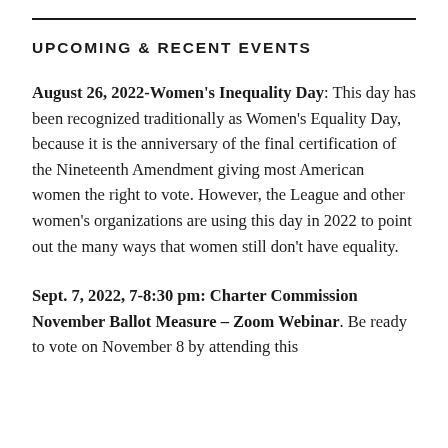UPCOMING & RECENT EVENTS
August 26, 2022-Women's Inequality Day: This day has been recognized traditionally as Women's Equality Day, because it is the anniversary of the final certification of the Nineteenth Amendment giving most American women the right to vote. However, the League and other women's organizations are using this day in 2022 to point out the many ways that women still don't have equality.
Sept. 7, 2022, 7-8:30 pm: Charter Commission November Ballot Measure – Zoom Webinar. Be ready to vote on November 8 by attending this